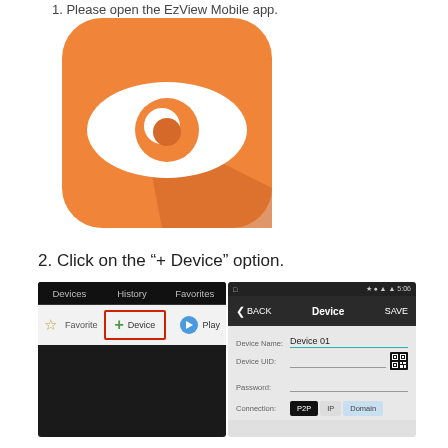1. Please open the EzView Mobile app.
[Figure (illustration): Orange rounded-square app icon with a white eye shape and orange iris/pupil, with a darker orange shadow in the lower-right corner.]
2. Click on the “+ Device” option.
[Figure (screenshot): Two mobile app screenshots side by side. Left: dark navigation bar with Devices, History, Favorites tabs, and a row with Favorite star, a red-bordered '+ Device' button, and a Play button. Right: Device configuration screen with BACK, Device title, SAVE; fields for Device Name (Device 01), Device UID (with QR code icon), Password, and Connection type buttons P2P (active/black), IP, Domain.]